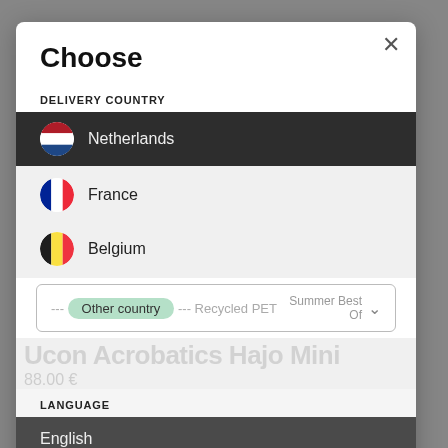Choose
DELIVERY COUNTRY
Netherlands
France
Belgium
--- Other country --- Recycled PET   Summer Best Of
LANGUAGE
English
Ucon Acrobatics Hajo Mini
88.00 €
Black / Lotus Black